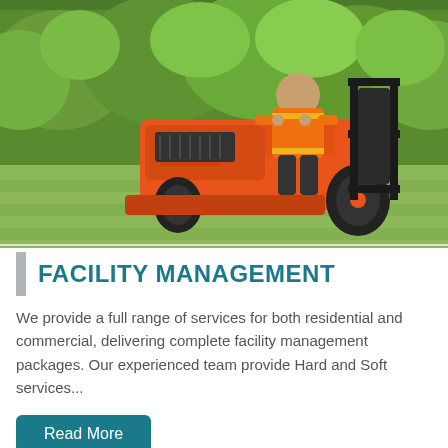[Figure (photo): A worker in an orange high-visibility vest riding an orange Kubota ride-on lawn mower with a rear grass collection attachment, mowing a lawn with a tall green hedge in the background.]
FACILITY MANAGEMENT
We provide a full range of services for both residential and commercial, delivering complete facility management packages. Our experienced team provide Hard and Soft services...
Read More